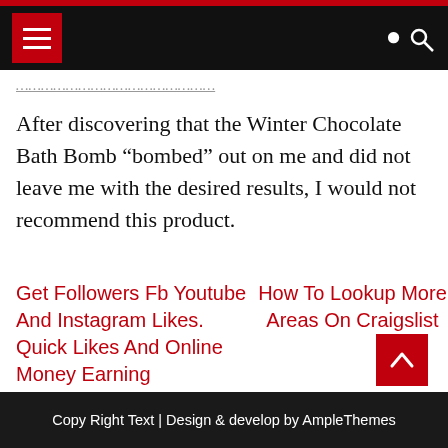Navigation bar with hamburger menu and search icon
After discovering that the Winter Chocolate Bath Bomb “bombed” out on me and did not leave me with the desired results, I would not recommend this product.
Get Followers Fb Youtube And Instagram Likes. Quick Likes And Online Money Earning
How To Lookup More Areas On Craigslist
Copy Right Text | Design & develop by AmpleThemes